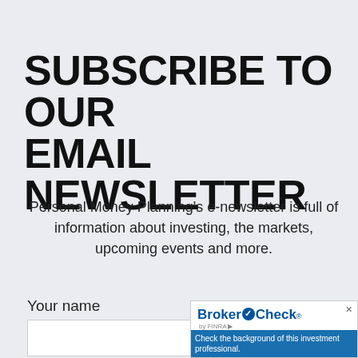SUBSCRIBE TO OUR EMAIL NEWSLETTER
Personal Money Planning's e-newsletter is full of information about investing, the markets, upcoming events and more.
Your name
[Figure (screenshot): BrokerCheck by FINRA widget with logo and tagline: Check the background of this investment professional.]